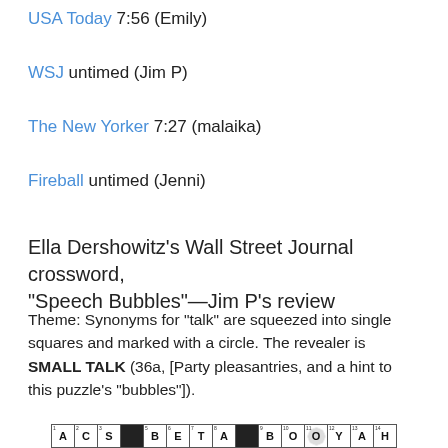USA Today 7:56 (Emily)
WSJ untimed (Jim P)
The New Yorker 7:27 (malaika)
Fireball untimed (Jenni)
Ella Dershowitz's Wall Street Journal crossword, “Speech Bubbles”—Jim P’s review
Theme: Synonyms for “talk” are squeezed into single squares and marked with a circle. The revealer is SMALL TALK (36a, [Party pleasantries, and a hint to this puzzle’s “bubbles”]).
[Figure (other): Bottom portion of a crossword puzzle grid showing partial rows with letters A, C, S, B, E, T, A, B, O, O, Y, A, H and black squares. Small numbers appear in cell corners.]